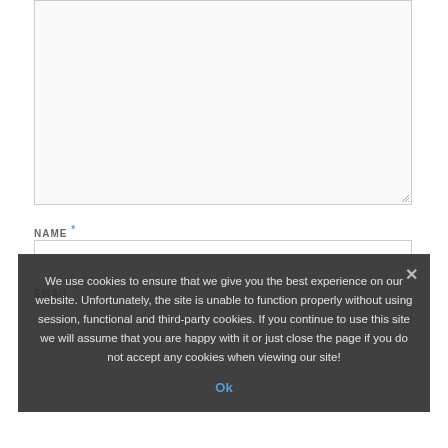[Figure (screenshot): Empty textarea input box with resize handle at bottom-right corner]
NAME *
[Figure (screenshot): Name text input field]
EMAIL *
[Figure (screenshot): Email text input field]
We use cookies to ensure that we give you the best experience on our website. Unfortunately, the site is unable to function properly without using session, functional and third-party cookies. If you continue to use this site we will assume that you are happy with it or just close the page if you do not accept any cookies when viewing our site!
Ok